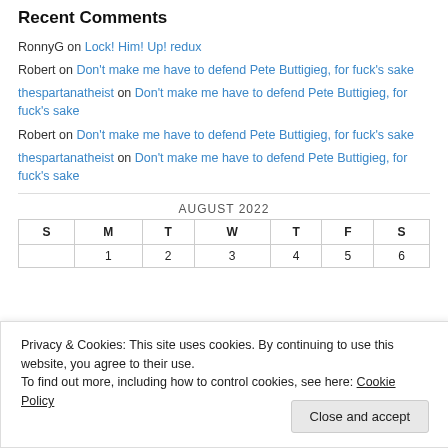Recent Comments
RonnyG on Lock! Him! Up! redux
Robert on Don’t make me have to defend Pete Buttigieg, for fuck’s sake
thespartanatheist on Don’t make me have to defend Pete Buttigieg, for fuck’s sake
Robert on Don’t make me have to defend Pete Buttigieg, for fuck’s sake
thespartanatheist on Don’t make me have to defend Pete Buttigieg, for fuck’s sake
| S | M | T | W | T | F | S |
| --- | --- | --- | --- | --- | --- | --- |
| 1 | 2 | 3 | 4 | 5 | 6 |
Privacy & Cookies: This site uses cookies. By continuing to use this website, you agree to their use.
To find out more, including how to control cookies, see here: Cookie Policy